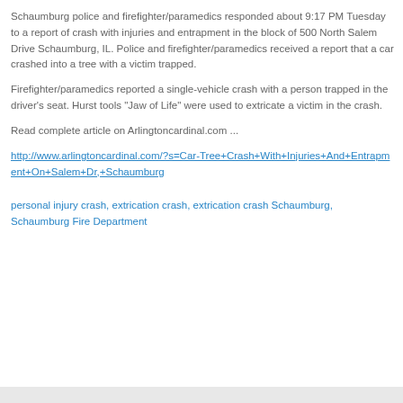Schaumburg police and firefighter/paramedics responded about 9:17 PM Tuesday to a report of crash with injuries and entrapment in the block of 500 North Salem Drive Schaumburg, IL. Police and firefighter/paramedics received a report that a car crashed into a tree with a victim trapped.
Firefighter/paramedics reported a single-vehicle crash with a person trapped in the driver's seat. Hurst tools "Jaw of Life" were used to extricate a victim in the crash.
Read complete article on Arlingtoncardinal.com ...
http://www.arlingtoncardinal.com/?s=Car-Tree+Crash+With+Injuries+And+Entrapment+On+Salem+Dr,+Schaumburg
personal injury crash, extrication crash, extrication crash Schaumburg, Schaumburg Fire Department